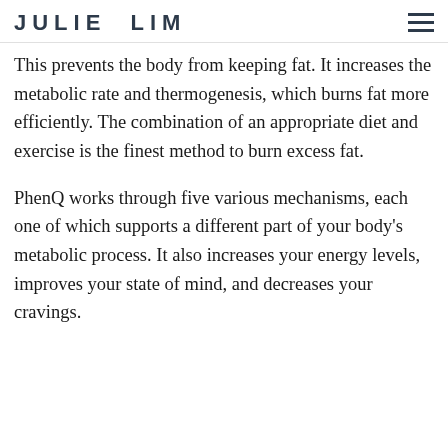JULIE LIM
This prevents the body from keeping fat. It increases the metabolic rate and thermogenesis, which burns fat more efficiently. The combination of an appropriate diet and exercise is the finest method to burn excess fat.
PhenQ works through five various mechanisms, each one of which supports a different part of your body's metabolic process. It also increases your energy levels, improves your state of mind, and decreases your cravings.